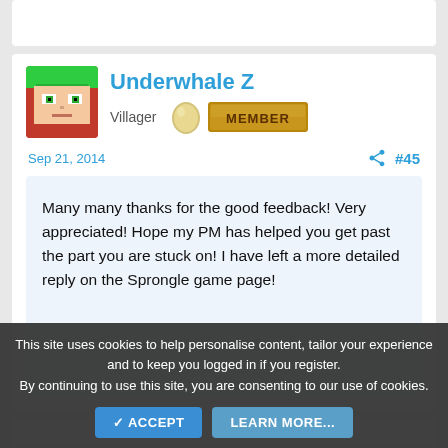Underwhale Z
Villager
Sep 21, 2014  #45
Many many thanks for the good feedback! Very appreciated! Hope my PM has helped you get past the part you are stuck on! I have left a more detailed reply on the Sprongle game page!
This site uses cookies to help personalise content, tailor your experience and to keep you logged in if you register. By continuing to use this site, you are consenting to our use of cookies.